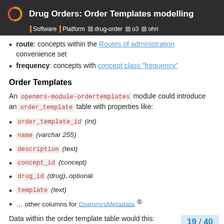Drug Orders: Order Templates modelling | Software | Platform | drug-order | o3 | ohri
route: concepts within the Routes of administration convenience set
frequency: concepts with concept class "frequency"
Order Templates
An openmrs-module-ordertemplates module could introduce an order_template table with properties like:
order_template_id (int)
name (varchar 255)
description (text)
concept_id (concept)
drug_id (drug), optional
template (text)
… other columns for OpenmrsMetadata 1
Data within the order template table would this:
19 / 40